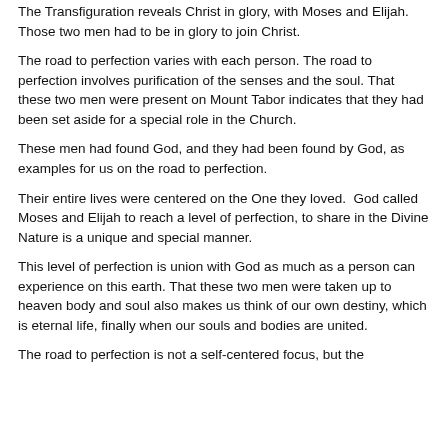The Transfiguration reveals Christ in glory, with Moses and Elijah. Those two men had to be in glory to join Christ.
The road to perfection varies with each person. The road to perfection involves purification of the senses and the soul. That these two men were present on Mount Tabor indicates that they had been set aside for a special role in the Church.
These men had found God, and they had been found by God, as examples for us on the road to perfection.
Their entire lives were centered on the One they loved.  God called Moses and Elijah to reach a level of perfection, to share in the Divine Nature is a unique and special manner.
This level of perfection is union with God as much as a person can experience on this earth. That these two men were taken up to heaven body and soul also makes us think of our own destiny, which is eternal life, finally when our souls and bodies are united.
The road to perfection is not a self-centered focus, but the ...